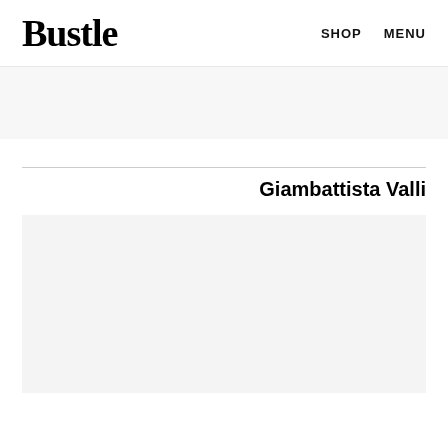Bustle  SHOP  MENU
[Figure (other): Gray advertisement banner area]
Giambattista Valli
[Figure (other): Gray image placeholder area]